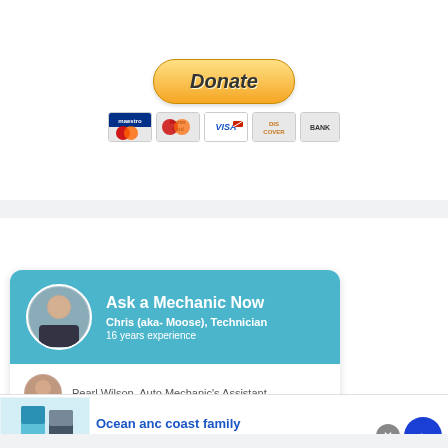[Figure (screenshot): PayPal Donate button with payment card icons (Maestro, MasterCard, Visa, Discover, Bank)]
[Figure (infographic): Ask a Mechanic Now widget featuring Chris (aka- Moose), Technician with 16 years experience, and Pearl Wilson Auto Mechanic's Assistant]
[Figure (screenshot): Infolinks advertisement banner for Ocean anc coast family - 60% Off Ocean and Coast for The Family - www.belk.com]